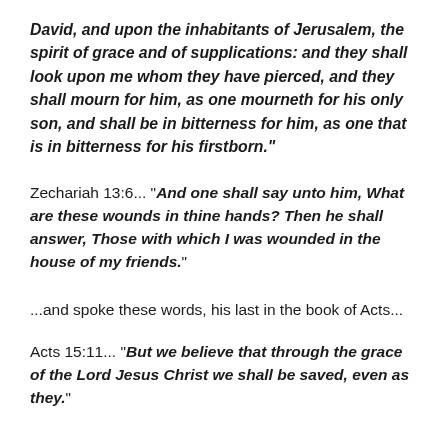David, and upon the inhabitants of Jerusalem, the spirit of grace and of supplications: and they shall look upon me whom they have pierced, and they shall mourn for him, as one mourneth for his only son, and shall be in bitterness for him, as one that is in bitterness for his firstborn."
Zechariah 13:6... "And one shall say unto him, What are these wounds in thine hands? Then he shall answer, Those with which I was wounded in the house of my friends."
...and spoke these words, his last in the book of Acts...
Acts 15:11... "But we believe that through the grace of the Lord Jesus Christ we shall be saved, even as they."